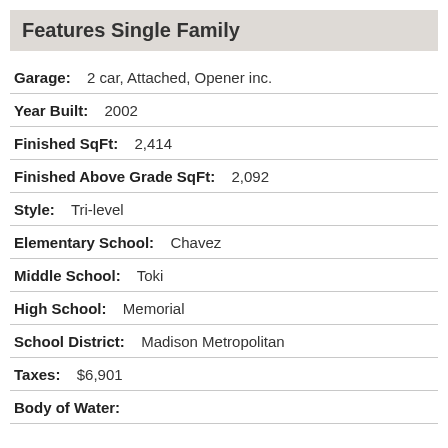Features Single Family
Garage: 2 car, Attached, Opener inc.
Year Built: 2002
Finished SqFt: 2,414
Finished Above Grade SqFt: 2,092
Style: Tri-level
Elementary School: Chavez
Middle School: Toki
High School: Memorial
School District: Madison Metropolitan
Taxes: $6,901
Body of Water: